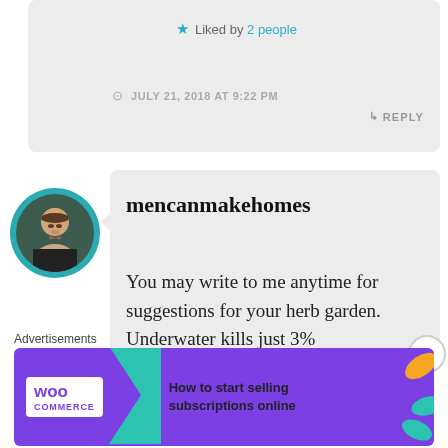★ Liked by 2 people
JULY 21, 2018 AT 9:22 PM
↳ REPLY
mencanmakehomes
You may write to me anytime for suggestions for your herb garden. Underwater kills just 3%
Advertisements
[Figure (screenshot): WooCommerce advertisement banner with purple background, teal arrow, and text 'How to start selling subscriptions online']